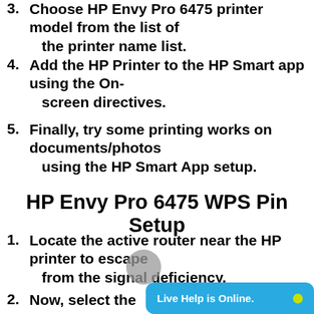3. Choose HP Envy Pro 6475 printer model from the list of the printer name list.
4. Add the HP Printer to the HP Smart app using the On-screen directives.
5. Finally, try some printing works on documents/photos using the HP Smart App setup.
HP Envy Pro 6475 WPS Pin Setup
1. Locate the active router near the HP printer to escape from the signal deficiency.
2. Now, select the
Live Help is Online.